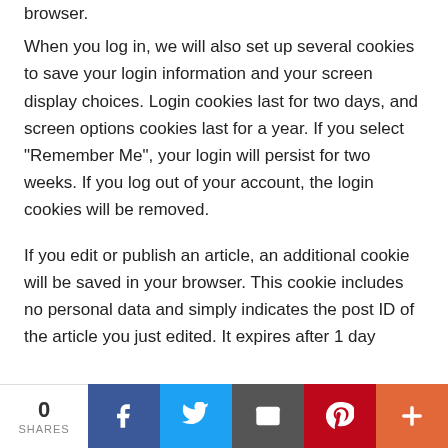browser.
When you log in, we will also set up several cookies to save your login information and your screen display choices. Login cookies last for two days, and screen options cookies last for a year. If you select “Remember Me”, your login will persist for two weeks. If you log out of your account, the login cookies will be removed.
If you edit or publish an article, an additional cookie will be saved in your browser. This cookie includes no personal data and simply indicates the post ID of the article you just edited. It expires after 1 day
0 SHARES | Facebook | Twitter | Email | Pinterest | More